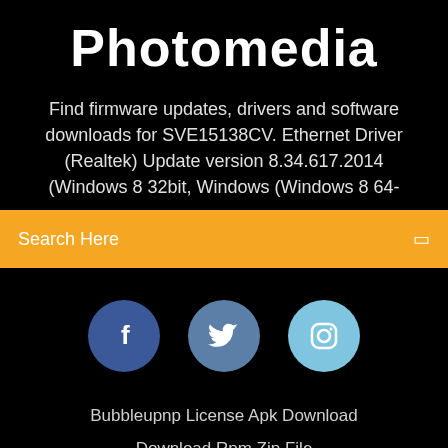Photomedia
Find firmware updates, drivers and software downloads for SVE15138CV. Ethernet Driver (Realtek) Update version 8.34.617.2014 (Windows 8 32bit, Windows (Windows 8 64-
Search Here
[Figure (other): Three social media icon circles: Facebook (dark blue), Twitter (medium blue), Instagram (light blue)]
Bubbleupnp License Apk Download
Download Rpm Zip File
Download Party.Down.South.S03e01 Torrent Download
Fallout 3 Free Download Pc Full Version